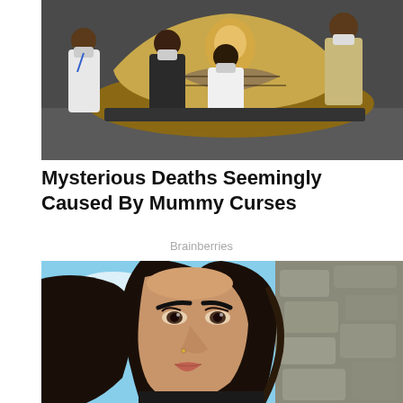[Figure (photo): Several men wearing face masks leaning over and examining an ancient Egyptian sarcophagus/mummy case on a table in what appears to be a museum or archaeological setting. The sarcophagus is decorated with golden hieroglyphic designs.]
Mysterious Deaths Seemingly Caused By Mummy Curses
Brainberries
[Figure (photo): Close-up selfie of a dark-haired woman with defined makeup including bold eyebrows and lashes, with blue sky and rocky stone wall visible in the background.]